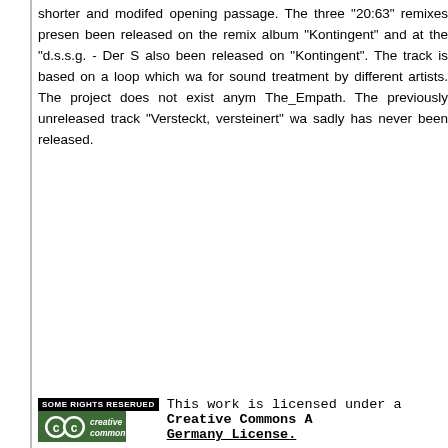shorter and modifed opening passage. The three "20:63" remixes present been released on the remix album "Kontingent" and at the "d.s.s.g. - Der S also been released on "Kontingent". The track is based on a loop which wa for sound treatment by different artists. The project does not exist anym The_Empath. The previously unreleased track "Versteckt, versteinert" wa sadly has never been released.
[Figure (logo): Creative Commons 'Some Rights Reserved' badge with CC logo on dark green background]
This work is licensed under a Creative Commons A Germany License.